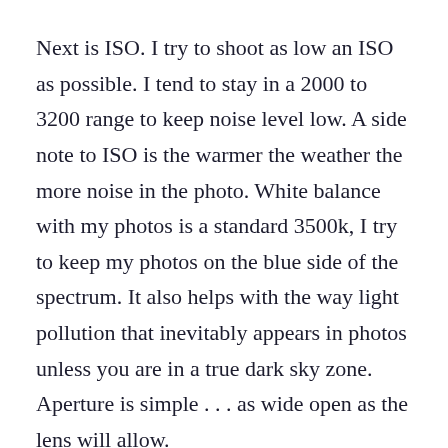Next is ISO. I try to shoot as low an ISO as possible. I tend to stay in a 2000 to 3200 range to keep noise level low. A side note to ISO is the warmer the weather the more noise in the photo. White balance with my photos is a standard 3500k, I try to keep my photos on the blue side of the spectrum. It also helps with the way light pollution that inevitably appears in photos unless you are in a true dark sky zone. Aperture is simple . . . as wide open as the lens will allow.
SUMMARY